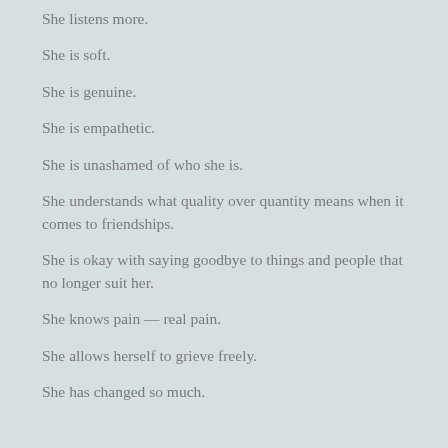She listens more.
She is soft.
She is genuine.
She is empathetic.
She is unashamed of who she is.
She understands what quality over quantity means when it comes to friendships.
She is okay with saying goodbye to things and people that no longer suit her.
She knows pain — real pain.
She allows herself to grieve freely.
She has changed so much.